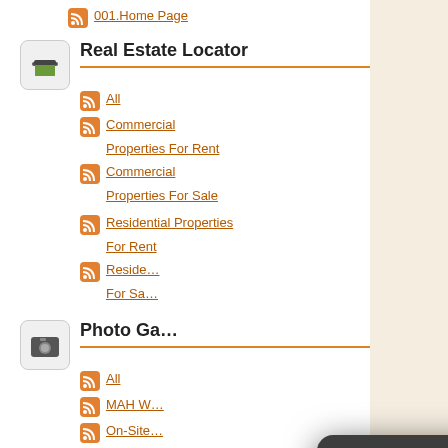001.Home Page
Real Estate Locator
All
Commercial Properties For Rent
Commercial Properties For Sale
Residential Properties For Rent
Residential Properties For Sale
Photo Gallery
All
MAH W
On-Site
Wedding Gallery
[Figure (screenshot): TextMyGov popup overlay showing a green speech bubble with 'TextMyGov' title, text 'Skip a phone call and use your mobile phone's text messaging to find answers to your questions. Text Hi to City of Decatur at (940) 245-4005', and a More Info button]